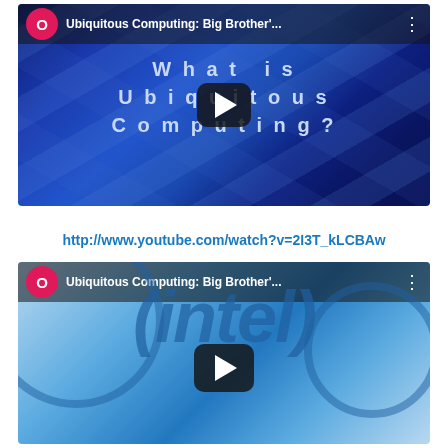[Figure (screenshot): YouTube video thumbnail for 'Ubiquitous Computing: Big Brother'...' showing a blue background with text 'What is Ubiquitous Computing?' and a play button overlay, with a pink/red 'O' avatar and video title in header bar]
http://www.youtube.com/watch?v=2I3T_kLCBAw
[Figure (screenshot): YouTube video thumbnail for 'Ubiquitous Computing: Big Brother'...' showing Intel logo/branding in blue tones with a play button overlay, with a pink/red 'O' avatar and video title in header bar]